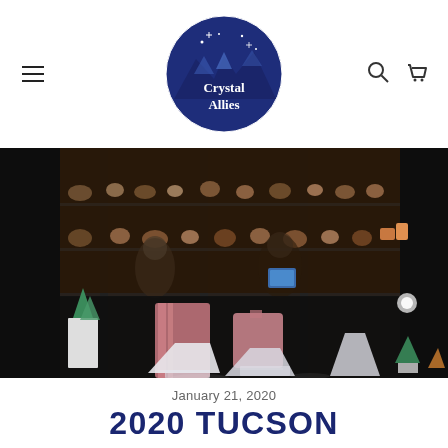Crystal Allies — navigation header with hamburger menu, logo, search icon, cart icon
[Figure (photo): Interior of a mineral and crystal show booth displaying large crystal specimens including pink tourmaline and watermelon tourmaline on black display stands, with glass cases full of mineral specimens and people browsing in the background.]
January 21, 2020
2020 TUCSON